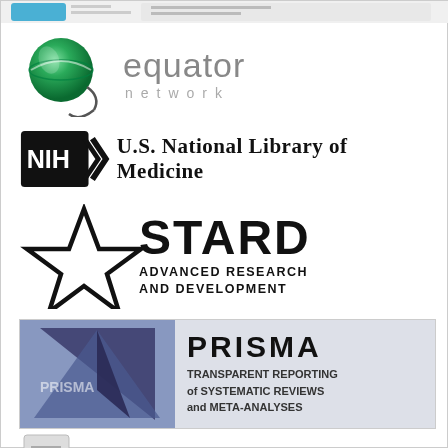[Figure (logo): EQUATOR network logo with green sphere icon and 'equator network' text in grey]
[Figure (logo): NIH U.S. National Library of Medicine logo with black NIH badge and text]
[Figure (logo): STARD Advanced Research and Development logo with black star outline and bold text]
[Figure (logo): PRISMA Transparent Reporting of Systematic Reviews and Meta-Analyses logo with blue triangle graphic]
[Figure (logo): STROBE Statement logo with document/magnifier icon and bold red italic text]